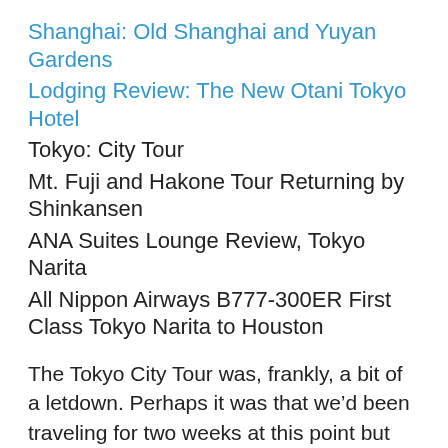Shanghai: Old Shanghai and Yuyan Gardens
Lodging Review: The New Otani Tokyo Hotel
Tokyo: City Tour
Mt. Fuji and Hakone Tour Returning by Shinkansen
ANA Suites Lounge Review, Tokyo Narita
All Nippon Airways B777-300ER First Class Tokyo Narita to Houston
The Tokyo City Tour was, frankly, a bit of a letdown. Perhaps it was that we’d been traveling for two weeks at this point but the tours from the Viking staff were just better than the ones on this extension. The guide didn’t have a microphone and we didn’t have headsets. Granted, the group was smaller but there’s just so much more you can learn if you can wander a little bit but still hear the guide’s spiel. I will definitely think hard before paying for